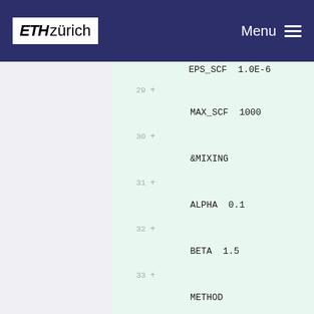ETH zürich   Menu
EPS_SCF  1.0E-6
29 +
    MAX_SCF  1000
30 +
    &MIXING
31 +
    ALPHA  0.1
32 +
    BETA  1.5
33 +
    METHOD BROYDEN_MIXING
34 +
    NBROYDEN  8
35 +        &END MIXING
36 +
    &OUTER_SCF
37 +
    EPS_SCF  1.0E-6